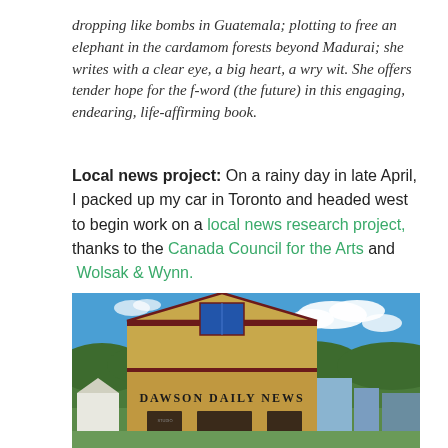dropping like bombs in Guatemala; plotting to free an elephant in the cardamom forests beyond Madurai; she writes with a clear eye, a big heart, a wry wit. She offers tender hope for the f-word (the future) in this engaging, endearing, life-affirming book.
Local news project: On a rainy day in late April, I packed up my car in Toronto and headed west to begin work on a local news research project, thanks to the Canada Council for the Arts and Wolsak & Wynn.
[Figure (photo): Photo of the Dawson Daily News building, a yellow/tan wooden historic building with dark red trim, blue window on upper level, with trees and mountains in background, blue sky with white clouds.]